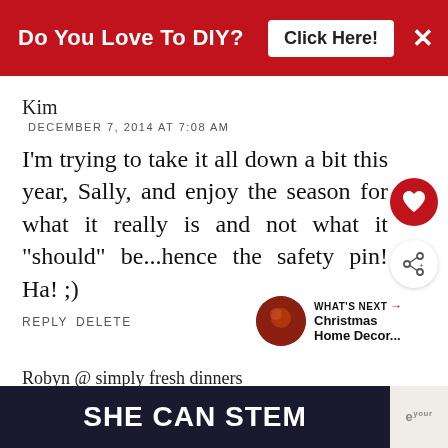[Figure (screenshot): Red advertisement banner: 'Do You Love To DIY? Click Here!' with X close button]
Kim
DECEMBER 7, 2014 AT 7:08 AM
I'm trying to take it all down a bit this year, Sally, and enjoy the season for what it really is and not what it "should" be...hence the safety pin! Ha! ;)
REPLY DELETE
WHAT'S NEXT → Christmas Home Decor...
Robyn @ simply fresh dinners
DECEMBER 7, 2014 AT 10:13 AM
[Figure (screenshot): Dark bottom ad banner reading 'SHE CAN STEM']